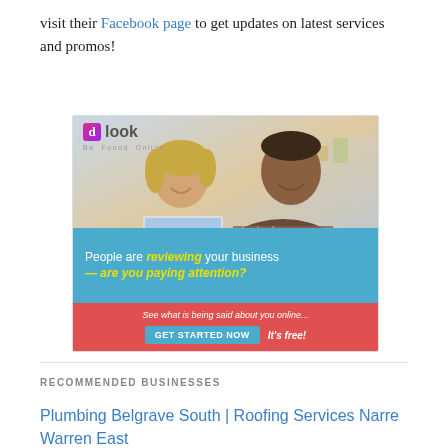visit their Facebook page to get updates on latest services and promos!
[Figure (infographic): dlook 'Be Found Online' advertisement banner. Shows two people (woman and man) looking at a laptop. Blue band text: 'People are reviewing your business — are you paying attention?' Red band text: 'See what is being said about you online...' with a 'GET STARTED NOW' button and 'It's free!' label.]
RECOMMENDED BUSINESSES
Plumbing Belgrave South | Roofing Services Narre Warren East